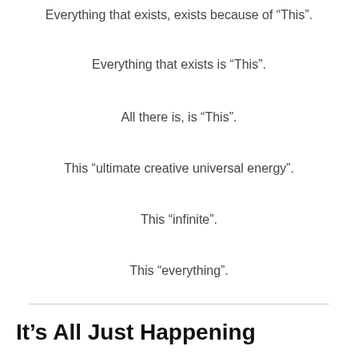Everything that exists, exists because of “This”.
Everything that exists is “This”.
All there is, is “This”.
This “ultimate creative universal energy”.
This “infinite”.
This “everything”.
It’s All Just Happening